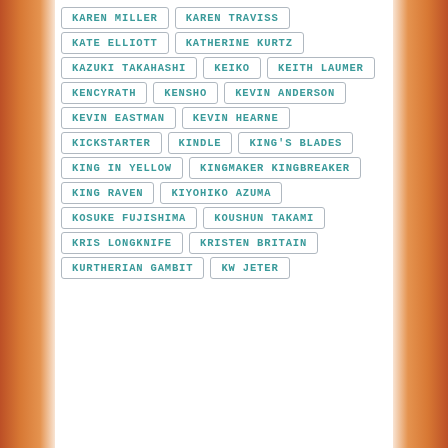KAREN MILLER
KAREN TRAVISS
KATE ELLIOTT
KATHERINE KURTZ
KAZUKI TAKAHASHI
KEIKO
KEITH LAUMER
KENCYRATH
KENSHO
KEVIN ANDERSON
KEVIN EASTMAN
KEVIN HEARNE
KICKSTARTER
KINDLE
KING'S BLADES
KING IN YELLOW
KINGMAKER KINGBREAKER
KING RAVEN
KIYOHIKO AZUMA
KOSUKE FUJISHIMA
KOUSHUN TAKAMI
KRIS LONGKNIFE
KRISTEN BRITAIN
KURTHERIAN GAMBIT
KW JETER